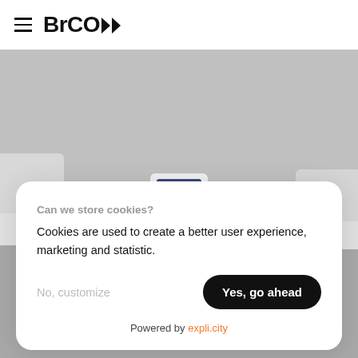BrCO
[Figure (photo): Gray background product display showing white electronic devices/smart home hubs on pedestals, with a central device featuring a screen in the middle.]
Can we store cookies?
Cookies are used to create a better user experience, marketing and statistic.
No, customize
Yes, go ahead
Powered by expli.city